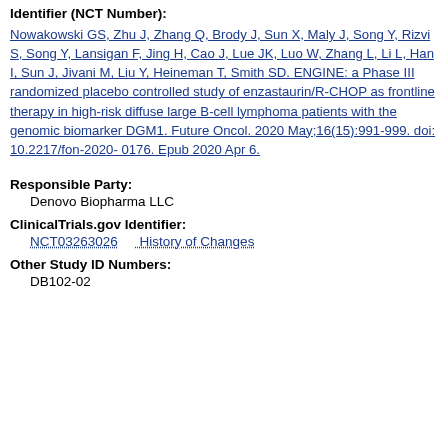Identifier (NCT Number):
Nowakowski GS, Zhu J, Zhang Q, Brody J, Sun X, Maly J, Song Y, Rizvi S, Song Y, Lansigan F, Jing H, Cao J, Lue JK, Luo W, Zhang L, Li L, Han I, Sun J, Jivani M, Liu Y, Heineman T, Smith SD. ENGINE: a Phase III randomized placebo controlled study of enzastaurin/R-CHOP as frontline therapy in high-risk diffuse large B-cell lymphoma patients with the genomic biomarker DGM1. Future Oncol. 2020 May;16(15):991-999. doi: 10.2217/fon-2020-0176. Epub 2020 Apr 6.
Responsible Party:
Denovo Biopharma LLC
ClinicalTrials.gov Identifier:
NCT03263026    History of Changes
Other Study ID Numbers:
DB102-02